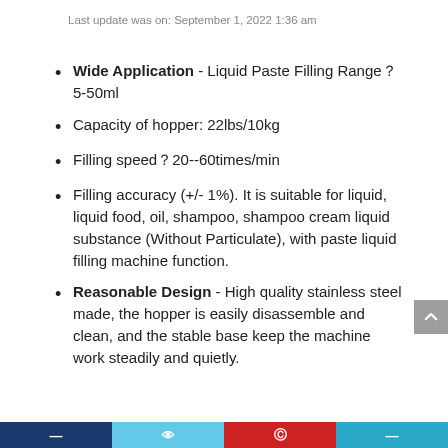Last update was on: September 1, 2022 1:36 am
Wide Application - Liquid Paste Filling Range：5-50ml
Capacity of hopper: 22lbs/10kg
Filling speed：20--60times/min
Filling accuracy (+/- 1%). It is suitable for liquid, liquid food, oil, shampoo, shampoo cream liquid substance (Without Particulate), with paste liquid filling machine function.
Reasonable Design - High quality stainless steel made, the hopper is easily disassemble and clean, and the stable base keep the machine work steadily and quietly.